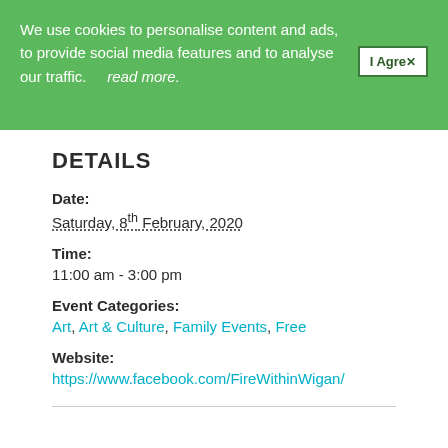We use cookies to personalise content and ads, to provide social media features and to analyse our traffic. read more.
DETAILS
Date:
Saturday, 8th February, 2020
Time:
11:00 am - 3:00 pm
Event Categories:
Art, Art & Culture, Family Events, Free
Website:
https://www.facebook.com/FireWithinWigan/